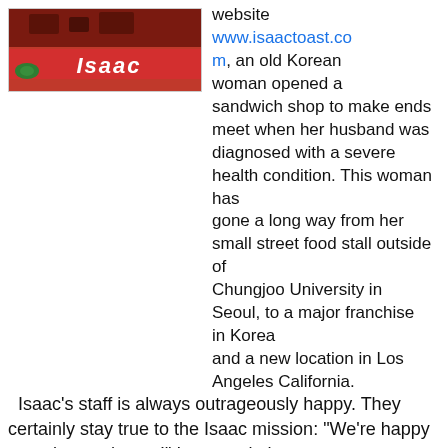[Figure (photo): Photo of Isaac Toast restaurant counter with red branding and Isaac logo]
website www.isaactoast.com, an old Korean woman opened a sandwich shop to make ends meet when her husband was diagnosed with a severe health condition. This woman has gone a long way from her small street food stall outside of Chungjoo University in Seoul, to a major franchise in Korea and a new location in Los Angeles California.
Isaac's staff is always outrageously happy. They certainly stay true to the Isaac mission: "We're happy to make you happy!" Last week there was a  women from Issac depositing wads of cash at the bank. I pointed at her Isaac apron and gave her a thumbs up and in return she laughed and mumbled a bunch of Korean words back. The amount of money she was depositing at the bank was surprising to me because the most expensive sandwich on the menu costs only 2,300 won or around $2!
[Figure (photo): Photo of Isaac Toast storefront exterior]
To find an Isaac near you visit the Korean